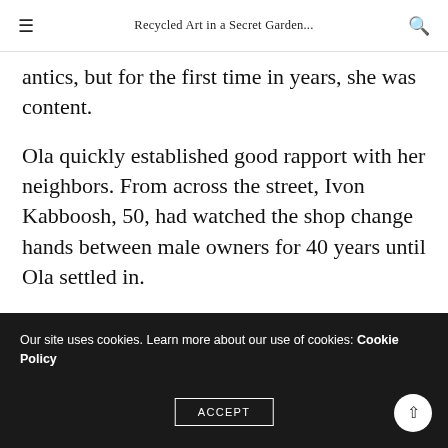Recycled Art in a Secret Garden...
antics, but for the first time in years, she was content.
Ola quickly established good rapport with her neighbors. From across the street, Ivon Kabboosh, 50, had watched the shop change hands between male owners for 40 years until Ola settled in.
[Figure (photo): Interior of a colorful art shop with orange and green walls, framed artwork, hanging decorations, and warm lighting]
Our site uses cookies. Learn more about our use of cookies: Cookie Policy